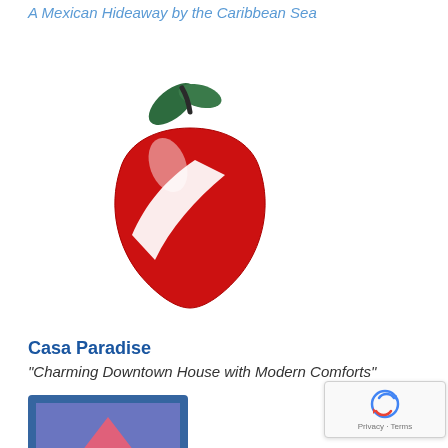A Mexican Hideaway by the Caribbean Sea
[Figure (logo): Red apple logo with a white diagonal scuba diving stripe/band across it, with dark green leaves at the top]
Casa Paradise
"Charming Downtown House with Modern Comforts"
[Figure (logo): Square logo with blue border showing a pink/salmon-colored triangle (mountain or pyramid) with a palm tree silhouette on a small island in the foreground, ocean waves at the bottom, set against a purple-blue sky background]
[Figure (logo): Google reCAPTCHA badge with rotating arrows icon and Privacy - Terms text]